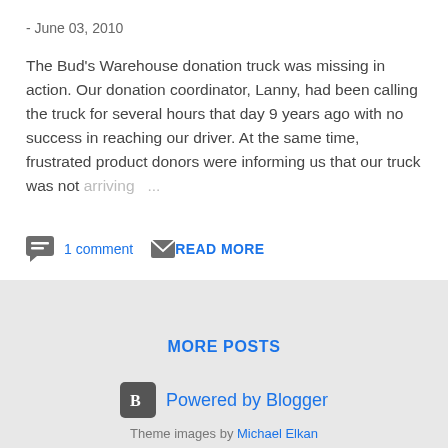- June 03, 2010
The Bud's Warehouse donation truck was missing in action. Our donation coordinator, Lanny, had been calling the truck for several hours that day 9 years ago with no success in reaching our driver. At the same time, frustrated product donors were informing us that our truck was not arriving ...
1 comment
READ MORE
MORE POSTS
Powered by Blogger
Theme images by Michael Elkan